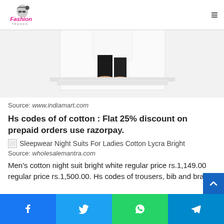Fashion Trends - logo and hamburger menu
[Figure (photo): Partial view of a person wearing white pants and black ankle pants/socks standing on a white mat, cropped at the waist down]
Source: www.indiamart.com
Hs codes of of cotton : Flat 25% discount on prepaid orders use razorpay.
[Figure (photo): Broken image placeholder for Sleepwear Night Suits For Ladies Cotton Lycra Bright]
Source: wholesalemantra.com
Men's cotton night suit bright white regular price rs.1,149.00 regular price rs.1,500.00. Hs codes of trousers, bib and bra
Social share bar: Facebook, Twitter, WhatsApp, Telegram